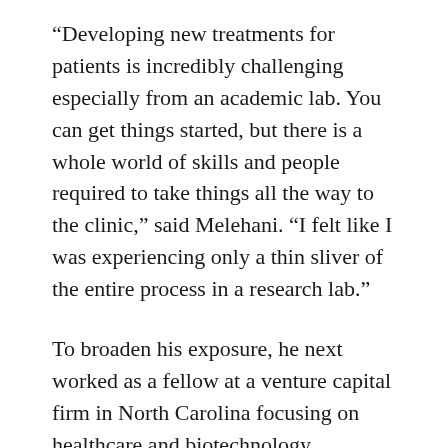“Developing new treatments for patients is incredibly challenging especially from an academic lab. You can get things started, but there is a whole world of skills and people required to take things all the way to the clinic,” said Melehani. “I felt like I was experiencing only a thin sliver of the entire process in a research lab.”
To broaden his exposure, he next worked as a fellow at a venture capital firm in North Carolina focusing on healthcare and biotechnology.
“In seven months, I evaluated 500 companies and helped pick the most promising ones,